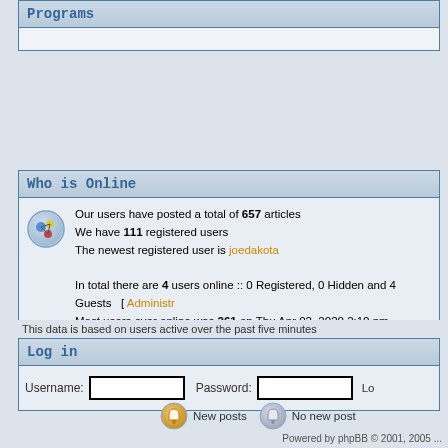Programs
Who is Online
Our users have posted a total of 657 articles
We have 111 registered users
The newest registered user is joedakota
In total there are 4 users online :: 0 Registered, 0 Hidden and 4 Guests  [ Administr...
Most users ever online was 261 on Thu Apr 02, 2020 2:10 pm
Registered Users: None
This data is based on users active over the past five minutes
Log in
Username:  Password:  Lo...
New posts    No new post...
Powered by phpBB © 2001, 2005 ...